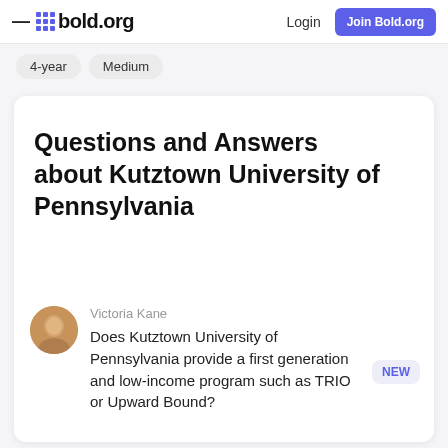bold.org — Login | Join Bold.org
4-year  Medium
Questions and Answers about Kutztown University of Pennsylvania
Victoria Kane
Does Kutztown University of Pennsylvania provide a first generation and low-income program such as TRIO or Upward Bound?  NEW